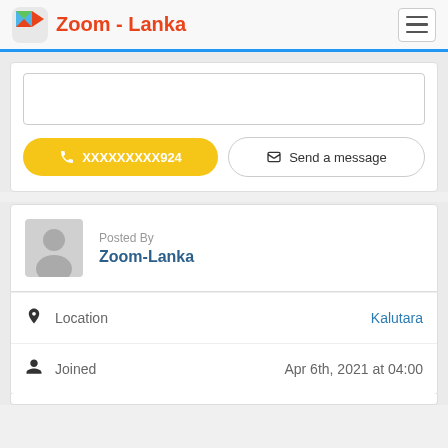Zoom - Lanka
[Figure (screenshot): Input/text area box (empty)]
XXXXXXXXX924
Send a message
Posted By
Zoom-Lanka
Location   Kalutara
Joined   Apr 6th, 2021 at 04:00